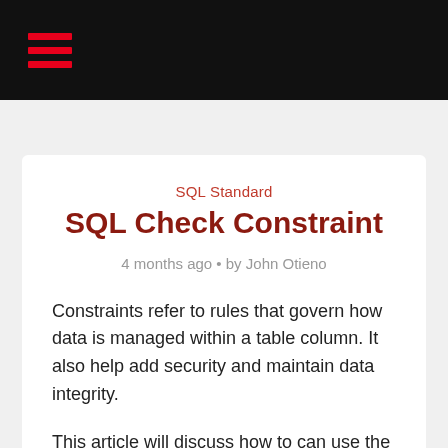SQL Standard
SQL Check Constraint
4 months ago • by John Otieno
Constraints refer to rules that govern how data is managed within a table column. It also help add security and maintain data integrity.
This article will discuss how to can use the CHECK constraints in SQL databases.